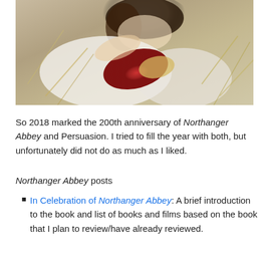[Figure (photo): A woman lying down outdoors reading a book with a red cover, surrounded by dried grass/straw. She is wearing white and her dark hair is loose.]
So 2018 marked the 200th anniversary of Northanger Abbey and Persuasion. I tried to fill the year with both, but unfortunately did not do as much as I liked.
Northanger Abbey posts
In Celebration of Northanger Abbey: A brief introduction to the book and list of books and films based on the book that I plan to review/have already reviewed.